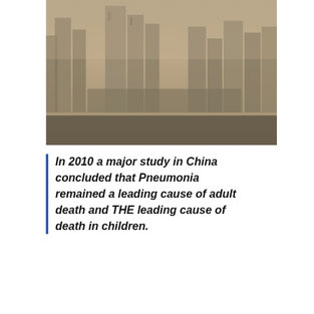[Figure (photo): Aerial view of a city with hazy/smoggy atmosphere, showing buildings and streets from above]
In 2010 a major study in China concluded that Pneumonia remained a leading cause of adult death and THE leading cause of death in children.
However, despite there being nothing uncommon about these patients, the symptoms or the scan results, Chinese officials declared that a new (novel)
We use cookies on our website to see how you interact with it. By accepting, you agree to our use of such cookies. Privacy Policy
Settings
Accept